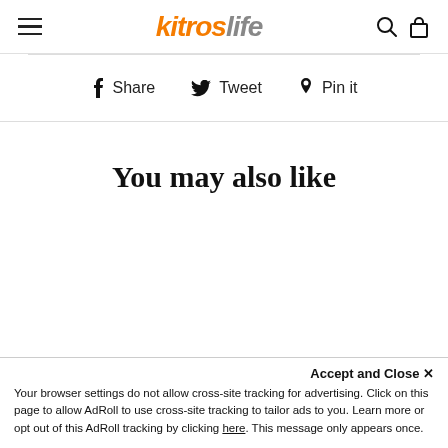kitroslife — hamburger menu, search, cart icons
Share  Tweet  Pin it
You may also like
Accept and Close ✕
Your browser settings do not allow cross-site tracking for advertising. Click on this page to allow AdRoll to use cross-site tracking to tailor ads to you. Learn more or opt out of this AdRoll tracking by clicking here. This message only appears once.